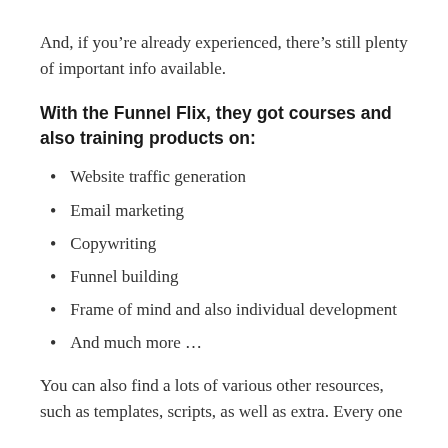And, if you're already experienced, there's still plenty of important info available.
With the Funnel Flix, they got courses and also training products on:
Website traffic generation
Email marketing
Copywriting
Funnel building
Frame of mind and also individual development
And much more …
You can also find a lots of various other resources, such as templates, scripts, as well as extra. Every one